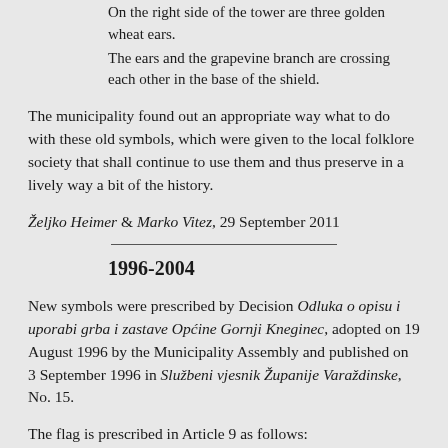On the right side of the tower are three golden wheat ears.
The ears and the grapevine branch are crossing each other in the base of the shield.
The municipality found out an appropriate way what to do with these old symbols, which were given to the local folklore society that shall continue to use them and thus preserve in a lively way a bit of the history.
Željko Heimer & Marko Vitez, 29 September 2011
1996-2004
New symbols were prescribed by Decision Odluka o opisu i uporabi grba i zastave Općine Gornji Kneginec, adopted on 19 August 1996 by the Municipality Assembly and published on 3 September 1996 in Službeni vjesnik Županije Varaždinske, No. 15.
The flag is prescribed in Article 9 as follows:
... in proportions 1:2, red. In the middle of the flag is a shield with the coat of arms of the Municipality of Gornji Kneginec depicted like in the original pattern.